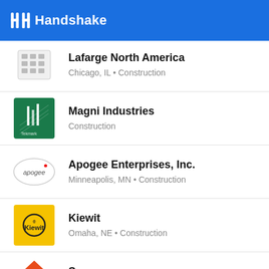Handshake
Lafarge North America
Chicago, IL • Construction
Magni Industries
Construction
Apogee Enterprises, Inc.
Minneapolis, MN • Construction
Kiewit
Omaha, NE • Construction
Servpro
Saint John, IN • Construction